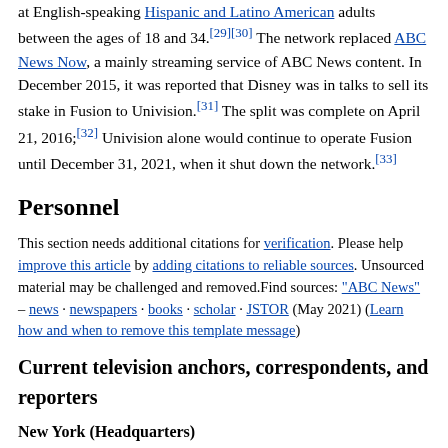at English-speaking Hispanic and Latino American adults between the ages of 18 and 34.[29][30] The network replaced ABC News Now, a mainly streaming service of ABC News content. In December 2015, it was reported that Disney was in talks to sell its stake in Fusion to Univision.[31] The split was complete on April 21, 2016;[32] Univision alone would continue to operate Fusion until December 31, 2021, when it shut down the network.[33]
Personnel
This section needs additional citations for verification. Please help improve this article by adding citations to reliable sources. Unsourced material may be challenged and removed.Find sources: "ABC News" – news · newspapers · books · scholar · JSTOR (May 2021) (Learn how and when to remove this template message)
Current television anchors, correspondents, and reporters
New York (Headquarters)
Mona Kosar Abdi – Co-Anchor, World News Now and